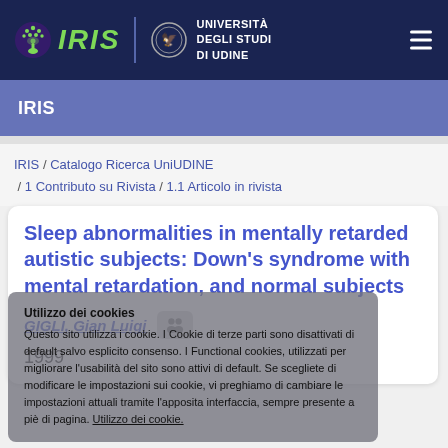[Figure (logo): IRIS logo with eye icon and IRIS text in green italic, plus Università degli Studi di Udine logo and text, on dark navy background. Hamburger menu icon top right.]
IRIS
IRIS / Catalogo Ricerca UniUDINE / 1 Contributo su Rivista / 1.1 Articolo in rivista
Sleep abnormalities in mentally retarded autistic subjects: Down's syndrome with mental retardation, and normal subjects
GIGLI, Gian Luigi
1999
Utilizzo dei cookies
Questo sito utilizza i cookie. I Cookie di terze parti sono disattivati di default salvo esplicito consenso. I Functional cookies, utilizzati per migliorare l'usabilità del sito sono attivi di default. Se scegliete di modificare le impostazioni sui cookie, vi preghiamo di cambiare le impostazioni attuali tramite l'apposita interfaccia, sempre presente a piè di pagina. Utilizzo dei cookie.